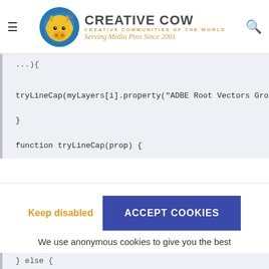Creative Cow — Creative Communities of the World. Serving Media Pros Since 2001
...){
tryLineCap(myLayers[i].property("ADBE Root Vectors Group"))

}

function tryLineCap(prop) {
Keep disabled | ACCEPT COOKIES
We use anonymous cookies to give you the best
} else {